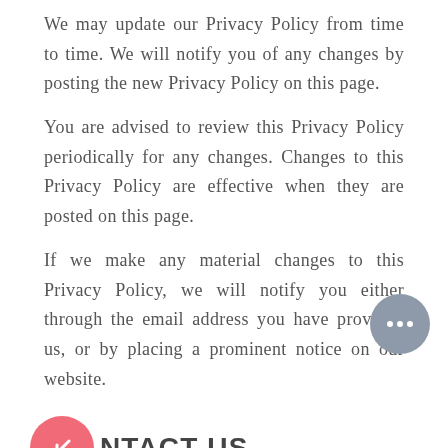We may update our Privacy Policy from time to time. We will notify you of any changes by posting the new Privacy Policy on this page.
You are advised to review this Privacy Policy periodically for any changes. Changes to this Privacy Policy are effective when they are posted on this page.
If we make any material changes to this Privacy Policy, we will notify you either through the email address you have provided us, or by placing a prominent notice on our website.
CONTACT US
If you have any questions about this Privacy Policy,